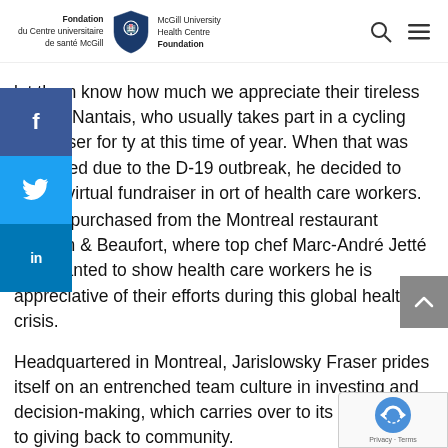Fondation du Centre universitaire de santé McGill | McGill University Health Centre Foundation
let them know how much we appreciate their tireless efforts, Nantais, who usually takes part in a cycling fundraiser for ty at this time of year. When that was cancelled due to the D-19 outbreak, he decided to hold a virtual fundraiser in ort of health care workers.
s were purchased from the Montreal restaurant Hoogan & Beaufort, where top chef Marc-André Jetté also wanted to show health care workers he is appreciative of their efforts during this global health crisis.
Headquartered in Montreal, Jarislowsky Fraser prides itself on an entrenched team culture in investing and decision-making, which carries over to its commitment to giving back to community.